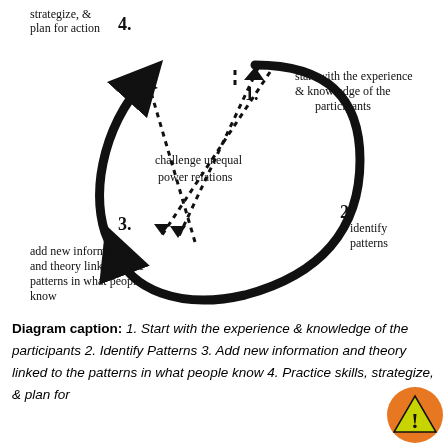[Figure (flowchart): Circular diagram with 4 numbered steps connected by thick curved arrows forming a cycle. A dotted arrow crosses the center labeled 'challenge unequal power relations'. Step 1 (top right): 'start with the experience & knowledge of the participants'. Step 2 (right): 'identify patterns'. Step 3 (bottom left): 'add new information and theory linked to the patterns in what people know'. Step 4 (top left): 'strategize, & plan for action'.]
Diagram caption: 1. Start with the experience & knowledge of the participants 2. Identify Patterns 3. Add new information and theory linked to the patterns in what people know 4. Practice skills, strategize, & plan for